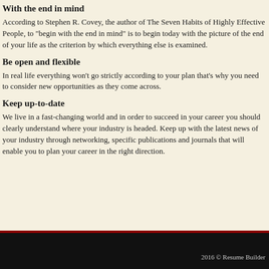With the end in mind
According to Stephen R. Covey, the author of The Seven Habits of Highly Effective People, to "begin with the end in mind" is to begin today with the picture of the end of your life as the criterion by which everything else is examined.
Be open and flexible
In real life everything won't go strictly according to your plan that's why you need to consider new opportunities as they come across.
Keep up-to-date
We live in a fast-changing world and in order to succeed in your career you should clearly understand where your industry is headed. Keep up with the latest news of your industry through networking, specific publications and journals that will enable you to plan your career in the right direction.
2016 © Resume Builder